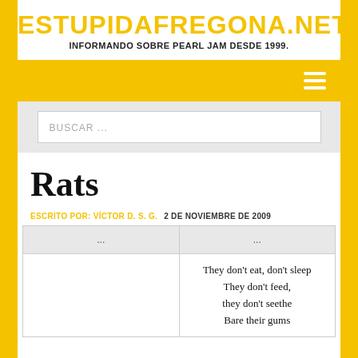ESTUPIDAFREGONA.NET
INFORMANDO SOBRE PEARL JAM DESDE 1999.
[Figure (screenshot): Yellow navigation bar with hamburger menu icon (three white horizontal lines) on the right side]
BUSCAR ...
Rats
ESCRITO POR: VÍCTOR D. S. G.   2 DE NOVIEMBRE DE 2009
| ... | ... |
| --- | --- |
|  | They don't eat, don't sleep
They don't feed, they don't seethe
Bare their gums |